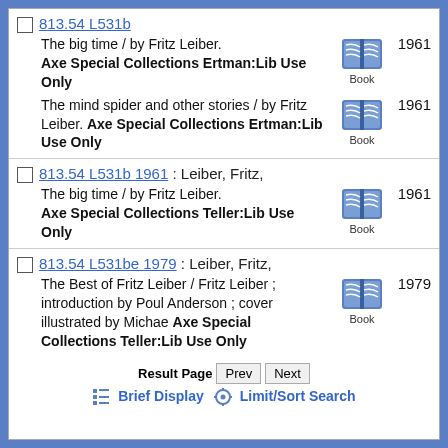813.54 L531b
The big time / by Fritz Leiber. Axe Special Collections Ertman:Lib Use Only 1961
The mind spider and other stories / by Fritz Leiber. Axe Special Collections Ertman:Lib Use Only 1961
813.54 L531b 1961 : Leiber, Fritz,
The big time / by Fritz Leiber. Axe Special Collections Teller:Lib Use Only 1961
813.54 L531be 1979 : Leiber, Fritz,
The Best of Fritz Leiber / Fritz Leiber ; introduction by Poul Anderson ; cover illustrated by Michae Axe Special Collections Teller:Lib Use Only 1979
Result Page  Prev  Next
Brief Display   Limit/Sort Search